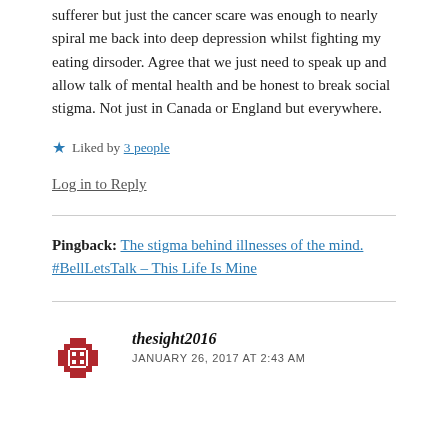sufferer but just the cancer scare was enough to nearly spiral me back into deep depression whilst fighting my eating dirsoder. Agree that we just need to speak up and allow talk of mental health and be honest to break social stigma. Not just in Canada or England but everywhere.
★ Liked by 3 people
Log in to Reply
Pingback: The stigma behind illnesses of the mind. #BellLetsTalk – This Life Is Mine
thesight2016
JANUARY 26, 2017 AT 2:43 AM